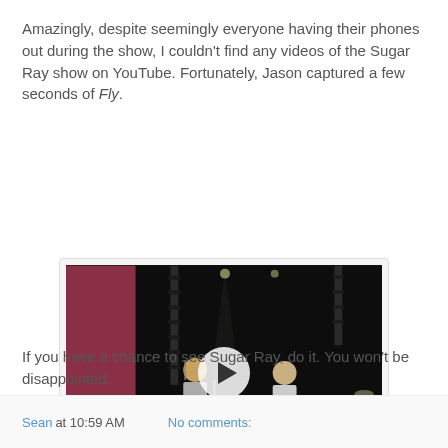Amazingly, despite seemingly everyone having their phones out during the show, I couldn't find any videos of the Sugar Ray show on YouTube. Fortunately, Jason captured a few seconds of Fly.
[Figure (screenshot): Video thumbnail of a concert showing band members on stage with dark background, with a white play button overlay in the center.]
If you have a chance to see Sugar Ray, do it. You won't be disappointed.
Sean at 10:59 AM    No comments: